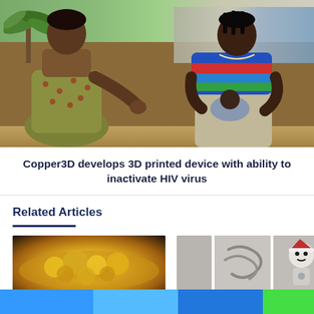[Figure (photo): Two African women outdoors, one in a green patterned dress leaning over, the other in a colorful striped top holding a baby. Background shows a building and palm tree on a dirt/sandy ground.]
Copper3D develops 3D printed device with ability to inactivate HIV virus
Related Articles
[Figure (photo): Close-up photo of gold nuggets or gold-colored material on a dark background.]
[Figure (photo): Two curved worm-like shapes on a light grey background.]
[Figure (photo): A small robot or toy figure with a round head and simple body on a grey background.]